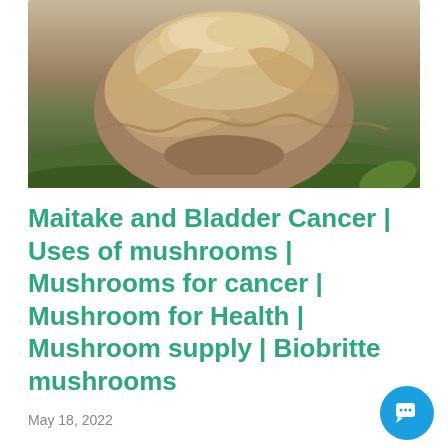[Figure (photo): Close-up photograph of a large maitake (hen-of-the-woods) mushroom cluster with layered, fan-shaped caps in tan/brown tones, sitting on green moss in an outdoor setting.]
Maitake and Bladder Cancer | Uses of mushrooms | Mushrooms for cancer | Mushroom for Health | Mushroom supply | Biobritte mushrooms
May 18, 2022